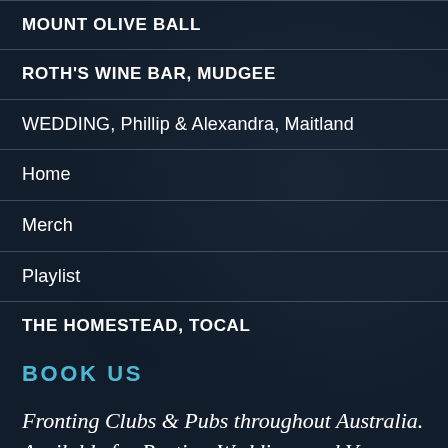MOUNT OLIVE BALL
ROTH'S WINE BAR, MUDGEE
WEDDING, Phillip & Alexandra, Maitland
Home
Merch
Playlist
THE HOMESTEAD, TOCAL
BOOK US
Fronting Clubs & Pubs throughout Australia. Available for Parties, Weddings and Venue Events.